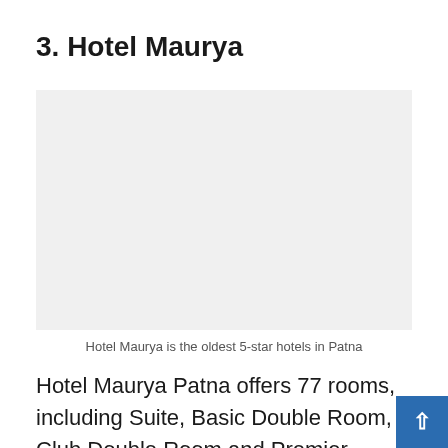3. Hotel Maurya
[Figure (photo): Photo of Hotel Maurya, the oldest 5-star hotel in Patna]
Hotel Maurya is the oldest 5-star hotels in Patna
Hotel Maurya Patna offers 77 rooms, including Suite, Basic Double Room, Club Double Room and Premier Double Room. Every room is central air conditioning, an LED flat television, an electric